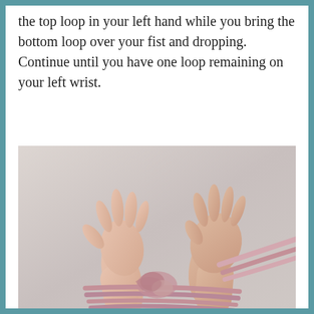the top loop in your left hand while you bring the bottom loop over your fist and dropping. Continue until you have one loop remaining on your left wrist.
[Figure (photo): Two hands with wrists bound together by pink/mauve rope or yarn, raised upward against a light gray background. The rope is wound multiple times around both wrists.]